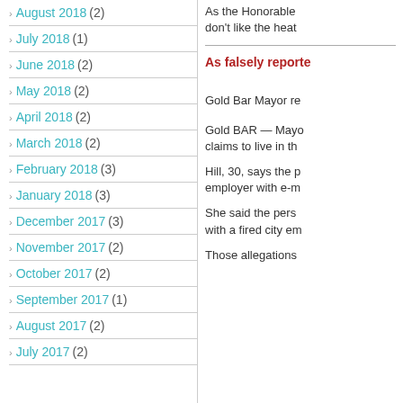August 2018 (2)
July 2018 (1)
June 2018 (2)
May 2018 (2)
April 2018 (2)
March 2018 (2)
February 2018 (3)
January 2018 (3)
December 2017 (3)
November 2017 (2)
October 2017 (2)
September 2017 (1)
August 2017 (2)
July 2017 (2)
As the Honorable don't like the heat
As falsely reported
Gold Bar Mayor re
Gold BAR — Mayo claims to live in th
Hill, 30, says the p employer with e-m
She said the pers with a fired city em
Those allegations